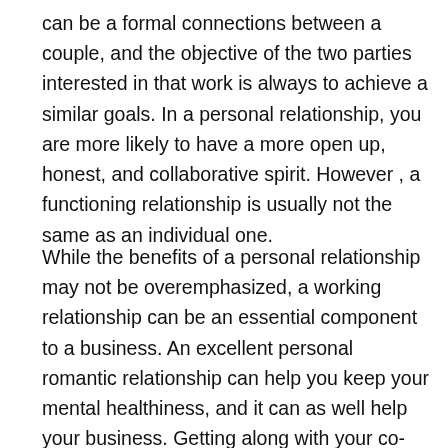can be a formal connections between a couple, and the objective of the two parties interested in that work is always to achieve a similar goals. In a personal relationship, you are more likely to have a more open up, honest, and collaborative spirit. However , a functioning relationship is usually not the same as an individual one.
While the benefits of a personal relationship may not be overemphasized, a working relationship can be an essential component to a business. An excellent personal romantic relationship can help you keep your mental healthiness, and it can as well help your business. Getting along with your co-workers could make it simpler for you to speak effectively and collaborate more proficiently. You'll also experience fewer misconceptions when it